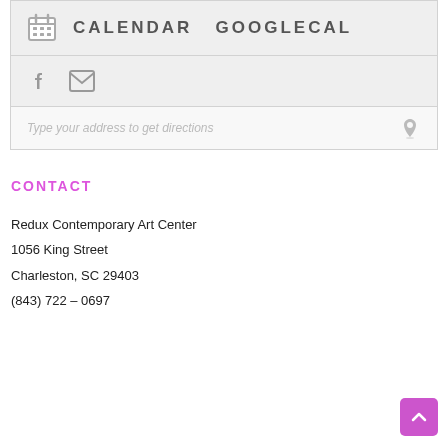CALENDAR  GOOGLECAL
[Figure (infographic): Facebook and email envelope social media icons in gray]
Type your address to get directions
CONTACT
Redux Contemporary Art Center
1056 King Street
Charleston, SC 29403
(843) 722 – 0697